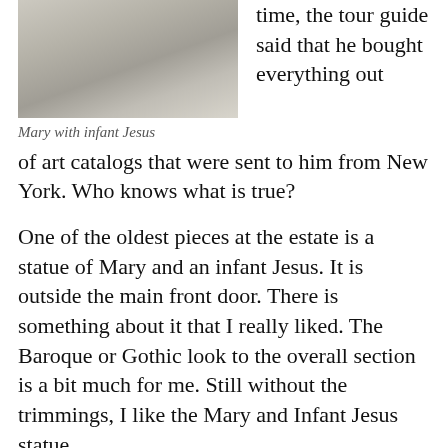[Figure (photo): Stone carving/relief of Mary with infant Jesus, ornate Baroque architectural detail]
Mary with infant Jesus
time, the tour guide said that he bought everything out of art catalogs that were sent to him from New York. Who knows what is true?
One of the oldest pieces at the estate is a statue of Mary and an infant Jesus. It is outside the main front door. There is something about it that I really liked. The Baroque or Gothic look to the overall section is a bit much for me. Still without the trimmings, I like the Mary and Infant Jesus statue.
One
[Figure (photo): Outdoor photo showing what appears to be part of an estate or garden structure]